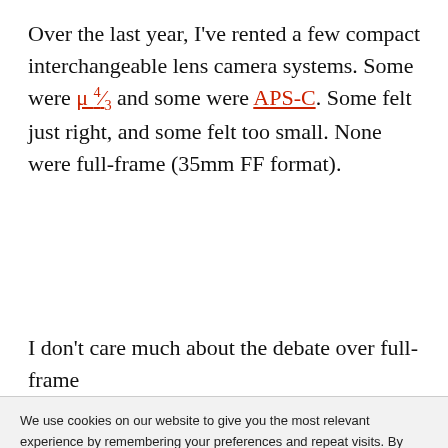Over the last year, I've rented a few compact interchangeable lens camera systems. Some were μ 4/3 and some were APS-C. Some felt just right, and some felt too small. None were full-frame (35mm FF format).
I don't care much about the debate over full-frame versus APS-C or anything else. What I want to know is the...
We use cookies on our website to give you the most relevant experience by remembering your preferences and repeat visits. By clicking "Accept", you consent to the use of ALL the cookies. However, this website has no interest in selling your information and does not explicitly use social media cookies from Facebook, Google, etc.
Read More
Do not sell my personal information.
Cookie Settings | Reject All | Accept